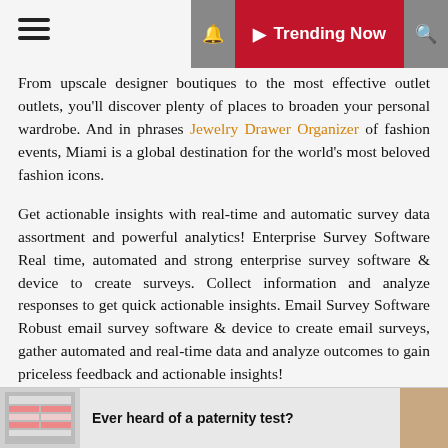≡  🔔  Trending Now  🔍
From upscale designer boutiques to the most effective outlet outlets, you'll discover plenty of places to broaden your personal wardrobe. And in phrases Jewelry Drawer Organizer of fashion events, Miami is a global destination for the world's most beloved fashion icons.
Get actionable insights with real-time and automatic survey data assortment and powerful analytics! Enterprise Survey Software Real time, automated and strong enterprise survey software & device to create surveys. Collect information and analyze responses to get quick actionable insights. Email Survey Software Robust email survey software & device to create email surveys, gather automated and real-time data and analyze outcomes to gain priceless feedback and actionable insights!
Ever heard of a paternity test?